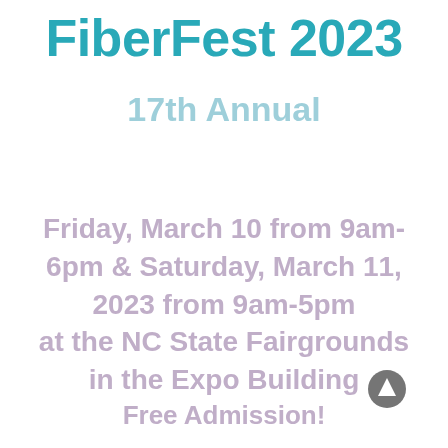FiberFest 2023
17th Annual
Friday, March 10 from 9am-6pm & Saturday, March 11, 2023 from 9am-5pm at the NC State Fairgrounds in the Expo Building
Free Admission!